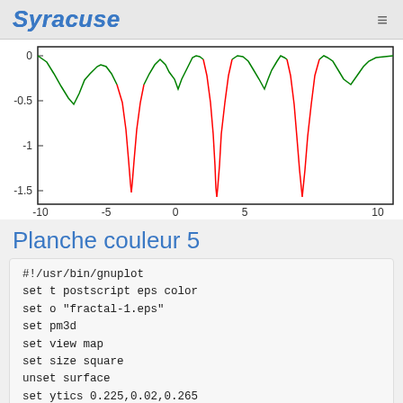Syracuse
[Figure (continuous-plot): Line chart showing a waveform-like function over x range -10 to 10, y range -1.5 to 0. The curve has three sharp dips below -1 (colored red) at approximately x=-8, x=-0.5, x=5, with the rest of the curve in green, oscillating near 0 to -0.5.]
Planche couleur 5
#!/usr/bin/gnuplot
set t postscript eps color
set o "fractal-1.eps"
set pm3d
set view map
set size square
unset surface
set ytics 0.225,0.02,0.265
set xtics -0.745,0.02,-0.705
unset key